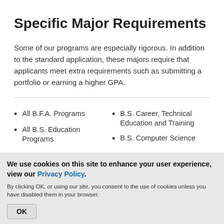Specific Major Requirements
Some of our programs are especially rigorous. In addition to the standard application, these majors require that applicants meet extra requirements such as submitting a portfolio or earning a higher GPA.
All B.F.A. Programs
All B.S. Education Programs
B.S. Career, Technical Education and Training
B.S. Computer Science
We use cookies on this site to enhance your user experience, view our Privacy Policy.
By clicking OK, or using our site, you consent to the use of cookies unless you have disabled them in your browser.